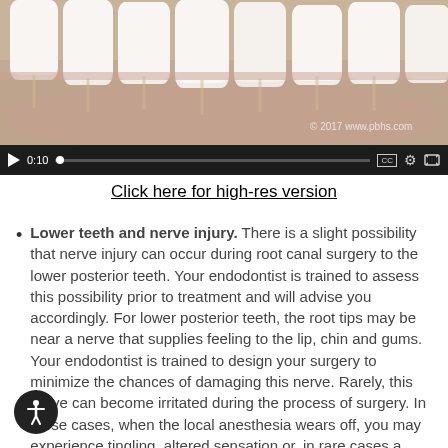[Figure (screenshot): Video player showing a dental illustration with teeth, gums and bone cross-section. Video control bar at bottom with play button, timestamp 0:10, progress bar, CC, settings and fullscreen icons.]
Click here for high-res version
Lower teeth and nerve injury. There is a slight possibility that nerve injury can occur during root canal surgery to the lower posterior teeth. Your endodontist is trained to assess this possibility prior to treatment and will advise you accordingly. For lower posterior teeth, the root tips may be near a nerve that supplies feeling to the lip, chin and gums. Your endodontist is trained to design your surgery to minimize the chances of damaging this nerve. Rarely, this nerve can become irritated during the process of surgery. In these cases, when the local anesthesia wears off, you may experience tingling, altered sensation or, in rare cases a complete lack of feeling in the affected tissues. Should this occur, it is